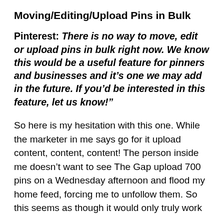Moving/Editing/Upload Pins in Bulk
Pinterest: There is no way to move, edit or upload pins in bulk right now. We know this would be a useful feature for pinners and businesses and it’s one we may add in the future. If you’d be interested in this feature, let us know!”
So here is my hesitation with this one. While the marketer in me says go for it upload content, content, content! The person inside me doesn’t want to see The Gap upload 700 pins on a Wednesday afternoon and flood my home feed, forcing me to unfollow them. So this seems as though it would only truly work